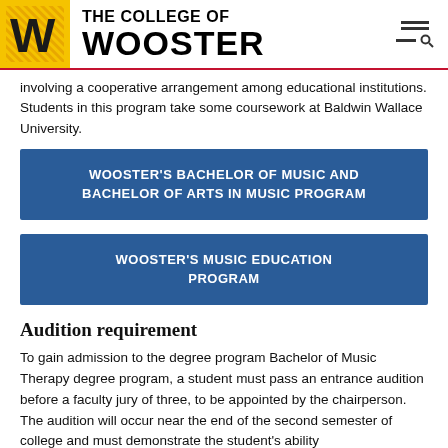THE COLLEGE OF WOOSTER
involving a cooperative arrangement among educational institutions. Students in this program take some coursework at Baldwin Wallace University.
WOOSTER'S BACHELOR OF MUSIC AND BACHELOR OF ARTS IN MUSIC PROGRAM
WOOSTER'S MUSIC EDUCATION PROGRAM
Audition requirement
To gain admission to the degree program Bachelor of Music Therapy degree program, a student must pass an entrance audition before a faculty jury of three, to be appointed by the chairperson. The audition will occur near the end of the second semester of college and must demonstrate the student's ability